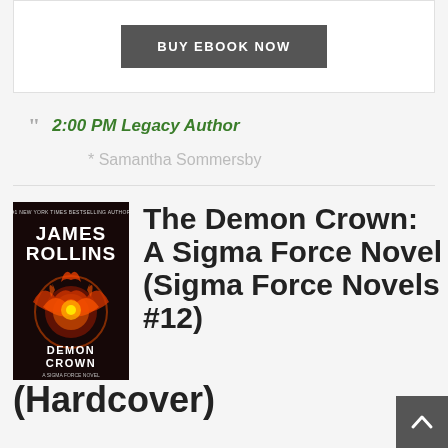BUY EBOOK NOW
2:00 PM Legacy Author
* Samantha Sommersby
[Figure (illustration): Book cover for The Demon Crown by James Rollins — dark background with fiery phoenix/crown imagery, red and orange flames]
The Demon Crown: A Sigma Force Novel (Sigma Force Novels #12) (Hardcover)